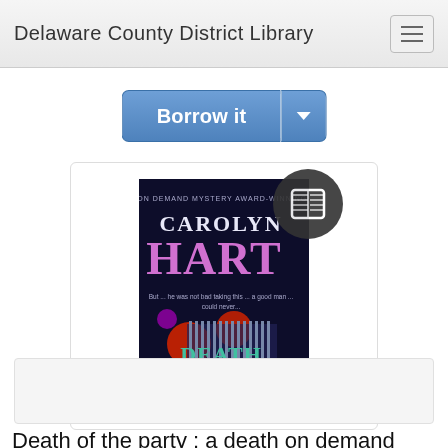Delaware County District Library
[Figure (screenshot): Borrow it button with dropdown arrow, blue gradient]
[Figure (illustration): Book cover of Death of the Party by Carolyn Hart, a death on demand mystery, with dark background, balloons, and a book overlay icon]
[Figure (screenshot): Google Preview button bar with book icon and info circle]
Death of the party : a death on demand